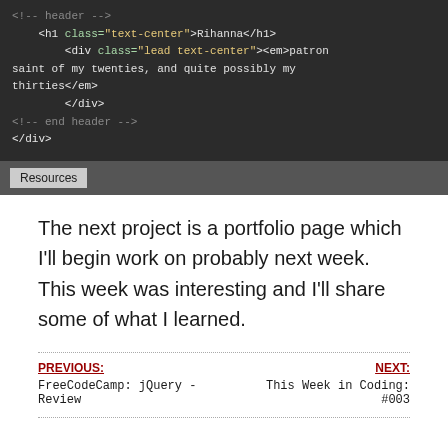[Figure (screenshot): Code editor screenshot showing HTML snippet with h1 class text-center containing 'Rihanna', a div with class 'lead text-center' and em tag with text 'patron saint of my twenties, and quite possibly my thirties', closing div and end header comment, with a Resources tab button at the bottom.]
The next project is a portfolio page which I'll begin work on probably next week. This week was interesting and I'll share some of what I learned.
PREVIOUS: FreeCodeCamp: jQuery - Review   NEXT: This Week in Coding: #003